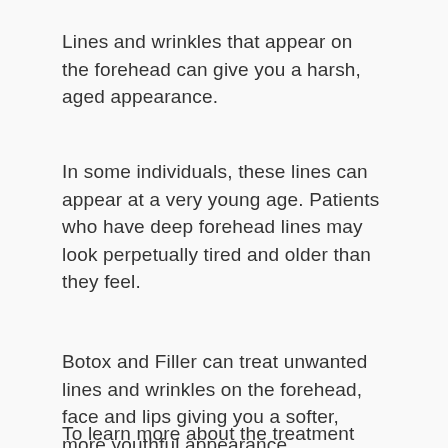Lines and wrinkles that appear on the forehead can give you a harsh, aged appearance.
In some individuals, these lines can appear at a very young age. Patients who have deep forehead lines may look perpetually tired and older than they feel.
Botox and Filler can treat unwanted lines and wrinkles on the forehead, face and lips giving you a softer, more youthful appearance.
To learn more about the treatment